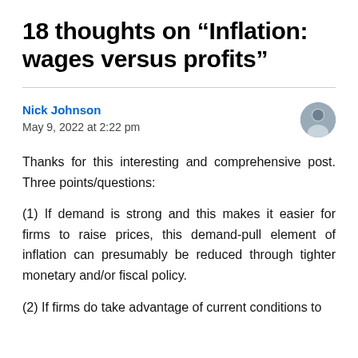18 thoughts on “Inflation: wages versus profits”
Nick Johnson
May 9, 2022 at 2:22 pm
Thanks for this interesting and comprehensive post. Three points/questions:
(1) If demand is strong and this makes it easier for firms to raise prices, this demand-pull element of inflation can presumably be reduced through tighter monetary and/or fiscal policy.
(2) If firms do take advantage of current conditions to raise prices faster and larger…